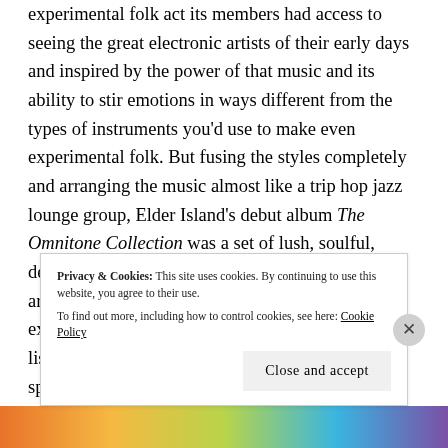experimental folk act its members had access to seeing the great electronic artists of their early days and inspired by the power of that music and its ability to stir emotions in ways different from the types of instruments you'd use to make even experimental folk. But fusing the styles completely and arranging the music almost like a trip hop jazz lounge group, Elder Island's debut album The Omnitone Collection was a set of lush, soulful, deeply atmospheric pop with surprisingly spare arrangements that left a great deal of room for experimenting with dynamics that invited the listener to project their imagination on to the open spaces of
Privacy & Cookies: This site uses cookies. By continuing to use this website, you agree to their use.
To find out more, including how to control cookies, see here: Cookie Policy
Close and accept
[Figure (other): Colorful gradient banner at the bottom of the page with orange, yellow, green, blue, and purple colors]